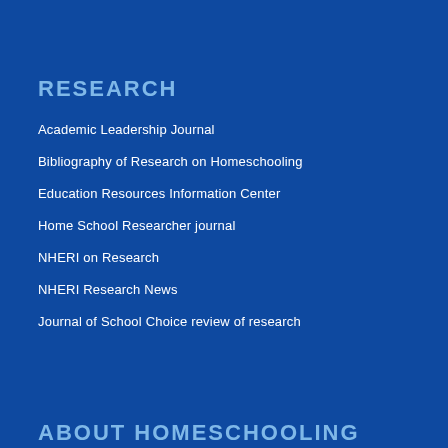RESEARCH
Academic Leadership Journal
Bibliography of Research on Homeschooling
Education Resources Information Center
Home School Researcher journal
NHERI on Research
NHERI Research News
Journal of School Choice review of research
ABOUT HOMESCHOOLING